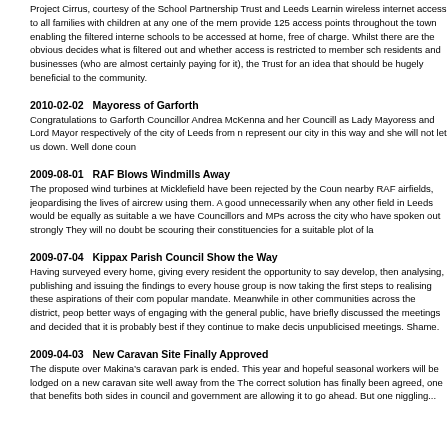Project Cirrus, courtesy of the School Partnership Trust and Leeds Learning, wireless internet access to all families with children at any one of the member schools, provide 125 access points throughout the town enabling the filtered internet of the schools to be accessed at home, free of charge. Whilst there are the obvious questions about who decides what is filtered out and whether access is restricted to member school families only, residents and businesses (who are almost certainly paying for it), the Trust should be applauded for an idea that should be hugely beneficial to the community.
2010-02-02   Mayoress of Garforth
Congratulations to Garforth Councillor Andrea McKenna and her Councillor husband on serving as Lady Mayoress and Lord Mayor respectively of the city of Leeds from next month. Andrea will represent our city in this way and she will not let us down. Well done councillor.
2009-08-01   RAF Blows Windmills Away
The proposed wind turbines at Micklefield have been rejected by the Council due to the nearby RAF airfields, jeopardising the lives of aircrew using them. A good decision. Why build unnecessarily when any other field in Leeds would be equally as suitable and no doubt we have Councillors and MPs across the city who have spoken out strongly for such development. They will no doubt be scouring their constituencies for a suitable plot of land.
2009-07-04   Kippax Parish Council Show the Way
Having surveyed every home, giving every resident the opportunity to say how they want to develop, then analysing, publishing and issuing the findings to every household, the working group is now taking the first steps to realising these aspirations of their community with a popular mandate. Meanwhile in other communities across the district, people looking for better ways of engaging with the general public, have briefly discussed the idea of open meetings and decided that it is probably best if they continue to make decisions at their unpublicised meetings. Shame.
2009-04-03   New Caravan Site Finally Approved
The dispute over Makina’s caravan park is ended. This year and hopefully onwards seasonal workers will be lodged on a new caravan site well away from the existing homes. The correct solution has finally been agreed, one that benefits both sides in the dispute. Both council and government are allowing it to go ahead. But one niggling question...